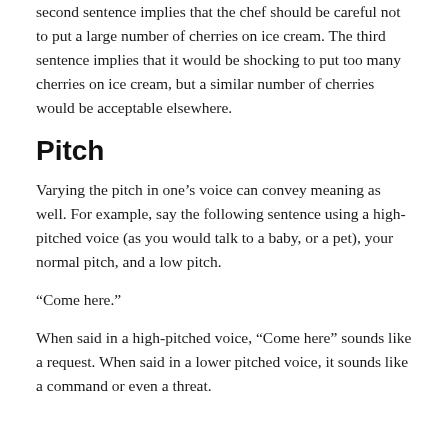second sentence implies that the chef should be careful not to put a large number of cherries on ice cream. The third sentence implies that it would be shocking to put too many cherries on ice cream, but a similar number of cherries would be acceptable elsewhere.
Pitch
Varying the pitch in one’s voice can convey meaning as well. For example, say the following sentence using a high-pitched voice (as you would talk to a baby, or a pet), your normal pitch, and a low pitch.
“Come here.”
When said in a high-pitched voice, “Come here” sounds like a request. When said in a lower pitched voice, it sounds like a command or even a threat.